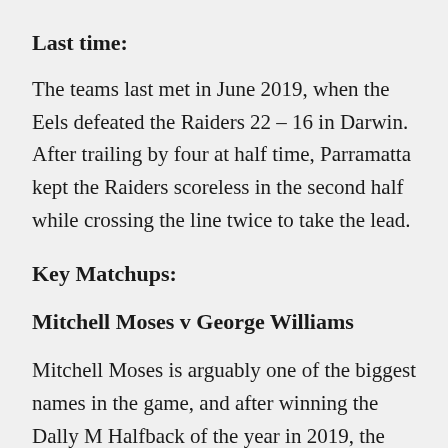Last time:
The teams last met in June 2019, when the Eels defeated the Raiders 22 – 16 in Darwin. After trailing by four at half time, Parramatta kept the Raiders scoreless in the second half while crossing the line twice to take the lead.
Key Matchups:
Mitchell Moses v George Williams
Mitchell Moses is arguably one of the biggest names in the game, and after winning the Dally M Halfback of the year in 2019, the Eels number